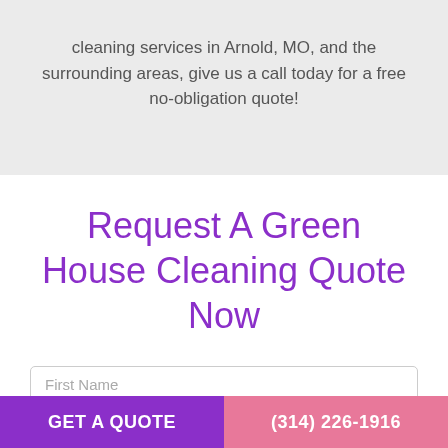cleaning services in Arnold, MO, and the surrounding areas, give us a call today for a free no-obligation quote!
Request A Green House Cleaning Quote Now
First Name
Last Name
GET A QUOTE   (314) 226-1916